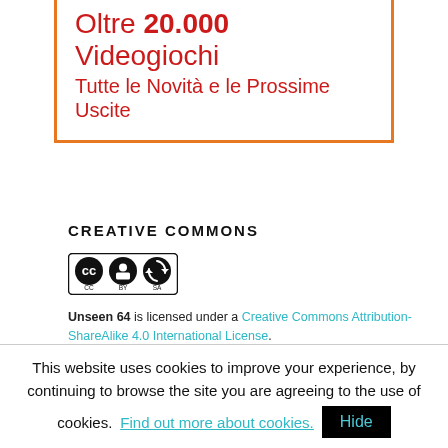[Figure (advertisement): Italian video game website advertisement banner. Text reads: 'Oltre 20.000 Videogiochi / Tutte le Novità e le Prossime Uscite' in red with an orange side border.]
CREATIVE COMMONS
[Figure (logo): Creative Commons CC BY SA license badge — circular icons showing CC, person, and rotate arrows with 'BY' and 'SA' labels.]
Unseen 64 is licensed under a Creative Commons Attribution-ShareAlike 4.0 International License.
™ and © for all characters, products and indicia related
This website uses cookies to improve your experience, by continuing to browse the site you are agreeing to the use of cookies. Find out more about cookies. Hide